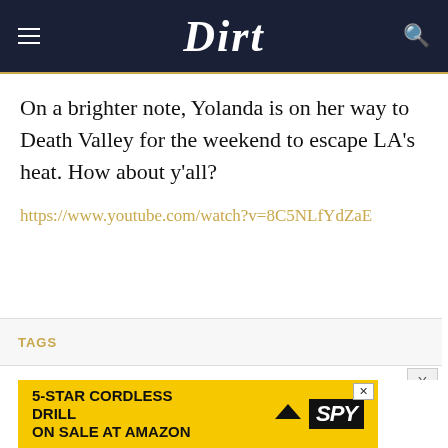Dirt
On a brighter note, Yolanda is on her way to Death Valley for the weekend to escape LA’s heat. How about y’all?
https://www.youtube.com/watch?v=8C5NLfYdZaE
TAGS
[Figure (screenshot): Advertisement banner: 5-STAR CORDLESS DRILL ON SALE AT AMAZON with SPY logo on yellow background]